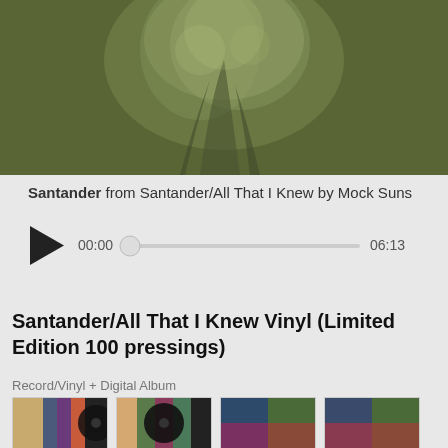[Figure (photo): Album artwork showing a dark olive/green toned image with tree or natural texture, partial view cropped at bottom]
Santander from Santander/All That I Knew by Mock Suns
[Figure (other): Audio player with play button, scrubber bar showing 00:00 to 06:13]
Santander/All That I Knew Vinyl (Limited Edition 100 pressings)
Record/Vinyl + Digital Album
[Figure (photo): Four thumbnail images of vinyl record packaging and album artwork]